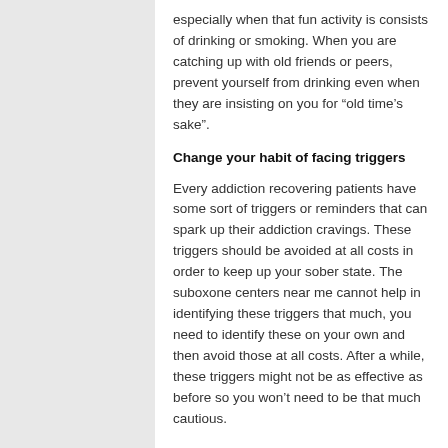especially when that fun activity is consists of drinking or smoking. When you are catching up with old friends or peers, prevent yourself from drinking even when they are insisting on you for “old time’s sake”.
Change your habit of facing triggers
Every addiction recovering patients have some sort of triggers or reminders that can spark up their addiction cravings. These triggers should be avoided at all costs in order to keep up your sober state. The suboxone centers near me cannot help in identifying these triggers that much, you need to identify these on your own and then avoid those at all costs. After a while, these triggers might not be as effective as before so you won’t need to be that much cautious.
Getting a sublocade shot is the only way to get rid of an addiction but then comes the bigger battle and that is staying sober. It is not as difficult as